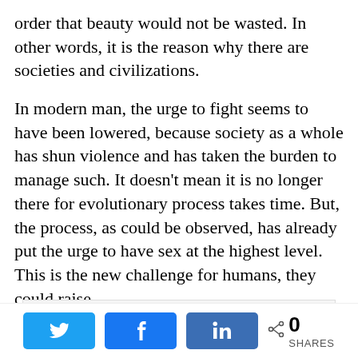order that beauty would not be wasted. In other words, it is the reason why there are societies and civilizations.
In modern man, the urge to fight seems to have been lowered, because society as a whole has shun violence and has taken the burden to manage such. It doesn't mean it is no longer there for evolutionary process takes time. But, the process, as could be observed, has already put the urge to have sex at the highest level. This is the new challenge for humans, they could raise
Privacy & Cookies: This site uses cookies. By continuing to use this website, you agree to their use.
To find out more, including how to control cookies, see here: Cookie Policy
[Figure (other): Social share bar with Twitter, Facebook, LinkedIn buttons and a share count showing 0 SHARES]